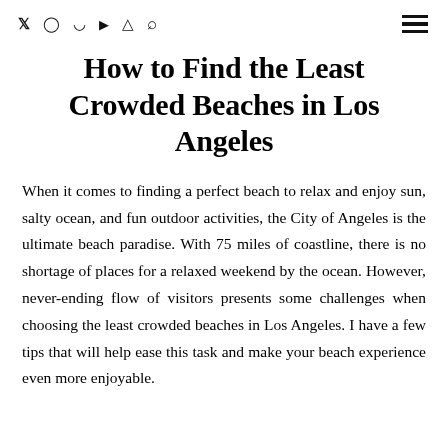Social media icons: Twitter, Instagram, Pinterest, YouTube, Facebook, Search | Hamburger menu
How to Find the Least Crowded Beaches in Los Angeles
When it comes to finding a perfect beach to relax and enjoy sun, salty ocean, and fun outdoor activities, the City of Angeles is the ultimate beach paradise. With 75 miles of coastline, there is no shortage of places for a relaxed weekend by the ocean. However, never-ending flow of visitors presents some challenges when choosing the least crowded beaches in Los Angeles. I have a few tips that will help ease this task and make your beach experience even more enjoyable.